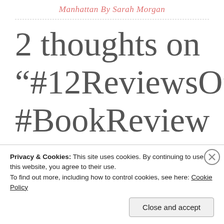Manhattan By Sarah Morgan
2 thoughts on “#12ReviewsOfXmas #BookReview The 5th Wave By Rick
Privacy & Cookies: This site uses cookies. By continuing to use this website, you agree to their use.
To find out more, including how to control cookies, see here: Cookie Policy
Close and accept